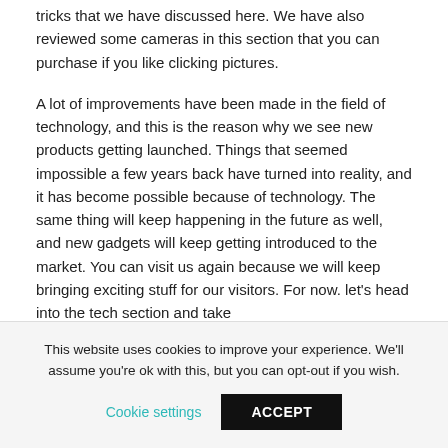tricks that we have discussed here. We have also reviewed some cameras in this section that you can purchase if you like clicking pictures.
A lot of improvements have been made in the field of technology, and this is the reason why we see new products getting launched. Things that seemed impossible a few years back have turned into reality, and it has become possible because of technology. The same thing will keep happening in the future as well, and new gadgets will keep getting introduced to the market. You can visit us again because we will keep bringing exciting stuff for our visitors. For now. let's head into the tech section and take
This website uses cookies to improve your experience. We'll assume you're ok with this, but you can opt-out if you wish.
Cookie settings   ACCEPT